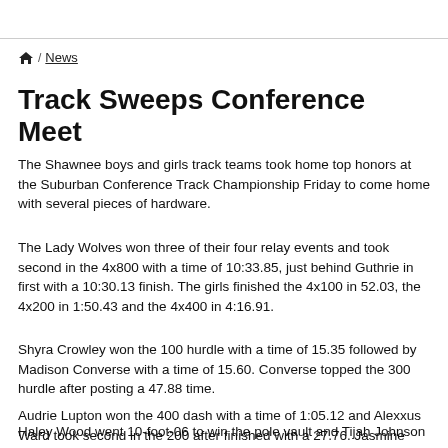/ News
Track Sweeps Conference Meet
The Shawnee boys and girls track teams took home top honors at the Suburban Conference Track Championship Friday to come home with several pieces of hardware.
The Lady Wolves won three of their four relay events and took second in the 4x800 with a time of 10:33.85, just behind Guthrie in first with a 10:30.13 finish. The girls finished the 4x100 in 52.03, the 4x200 in 1:50.43 and the 4x400 in 4:16.91.
Shyra Crowley won the 100 hurdle with a time of 15.35 followed by Madison Converse with a time of 15.60. Converse topped the 300 hurdle after posting a 47.88 time.
Audrie Lupton won the 400 dash with a time of 1:05.12 and Alexxus Ward took second in the 200 after finished with a 27.76. Jasmine Martinez won the 800 meter race with a time of 2:28.04.
Haley Wood went 10-foot-06 to win the pole vault and Tijah Johnson